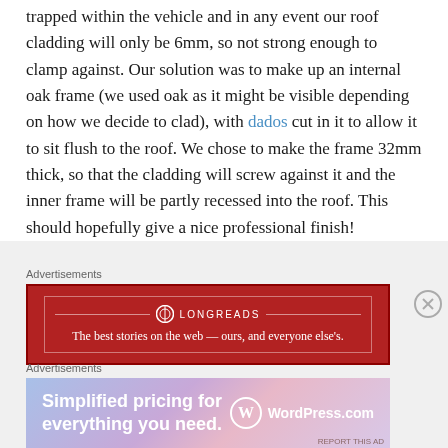trapped within the vehicle and in any event our roof cladding will only be 6mm, so not strong enough to clamp against. Our solution was to make up an internal oak frame (we used oak as it might be visible depending on how we decide to clad), with dados cut in it to allow it to sit flush to the roof. We chose to make the frame 32mm thick, so that the cladding will screw against it and the inner frame will be partly recessed into the roof. This should hopefully give a nice professional finish!
Advertisements
[Figure (other): Longreads advertisement banner: dark red background with Longreads logo and tagline 'The best stories on the web — ours, and everyone else's.']
Advertisements
[Figure (other): WordPress.com advertisement: gradient purple/pink background with text 'Simplified pricing for everything you need.' and WordPress.com logo.]